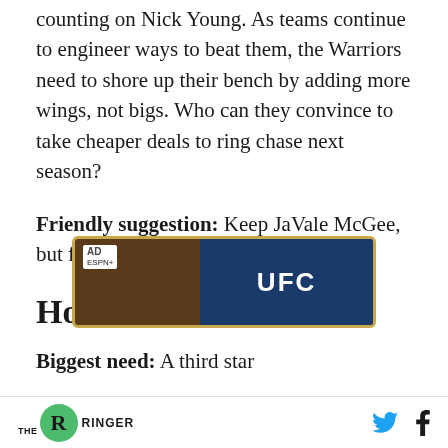counting on Nick Young. As teams continue to engineer ways to beat them, the Warriors need to shore up their bench by adding more wings, not bigs. Who can they convince to take cheaper deals to ring chase next season?
Friendly suggestion: Keep JaVale McGee, but find a better Nick Young.
Houston Rockets
Biggest need: A third star
[Figure (other): Advertisement banner for ESPN+ featuring UFC content, with AD label and ESPN+ logo on dark wood-textured background with gold border]
THE RINGER